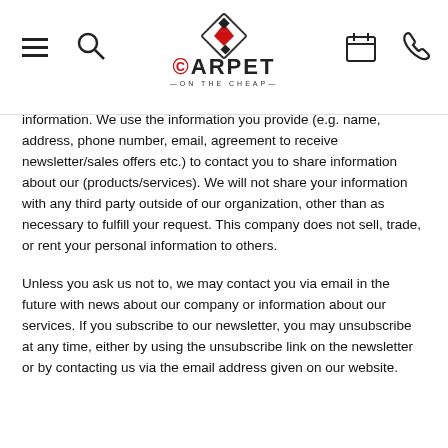Carpet on the Cheap — website header with navigation icons and logo
information. We use the information you provide (e.g. name, address, phone number, email, agreement to receive newsletter/sales offers etc.) to contact you to share information about our (products/services). We will not share your information with any third party outside of our organization, other than as necessary to fulfill your request. This company does not sell, trade, or rent your personal information to others.
Unless you ask us not to, we may contact you via email in the future with news about our company or information about our services. If you subscribe to our newsletter, you may unsubscribe at any time, either by using the unsubscribe link on the newsletter or by contacting us via the email address given on our website.